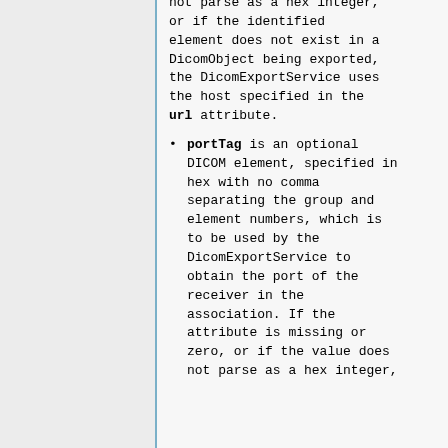not parse as a hex integer, or if the identified element does not exist in a DicomObject being exported, the DicomExportService uses the host specified in the url attribute.
portTag is an optional DICOM element, specified in hex with no comma separating the group and element numbers, which is to be used by the DicomExportService to obtain the port of the receiver in the association. If the attribute is missing or zero, or if the value does not parse as a hex integer,